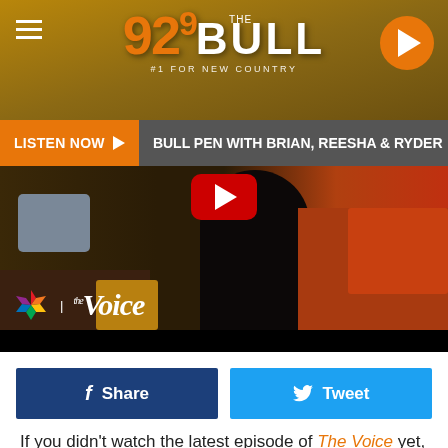92.9 THE BULL - #1 FOR NEW COUNTRY
[Figure (screenshot): Navigation bar with LISTEN NOW button, BULL PEN WITH BRIAN, REESHA & RYDER text, and MORNI (Morning) label]
[Figure (screenshot): Video thumbnail showing NBC The Voice logo overlay on a scene with person seated on couch with pillows, YouTube play button overlay, dark bottom bar]
[Figure (screenshot): Facebook Share button (dark blue) and Twitter Tweet button (light blue) side by side]
If you didn't watch the latest episode of The Voice yet, beware, spoilers ahead. On Tuesday (April 24), Coach Blake Shelton's three hopefuls were voted through by America with ease. So were Alicia Keys'. Adam Levine had to get down to